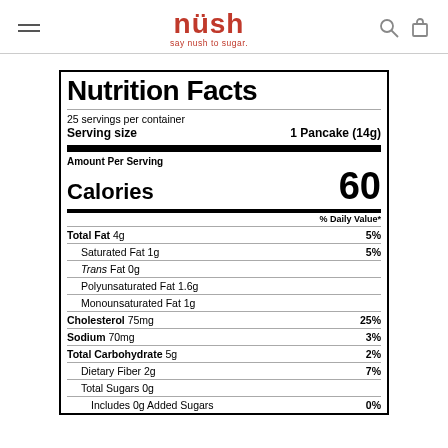nush — say nush to sugar.
| Nutrient | Amount | % Daily Value |
| --- | --- | --- |
| Nutrition Facts |  |  |
| 25 servings per container |  |  |
| Serving size | 1 Pancake (14g) |  |
| Amount Per Serving |  |  |
| Calories | 60 |  |
| Total Fat 4g |  | 5% |
| Saturated Fat 1g |  | 5% |
| Trans Fat 0g |  |  |
| Polyunsaturated Fat 1.6g |  |  |
| Monounsaturated Fat 1g |  |  |
| Cholesterol 75mg |  | 25% |
| Sodium 70mg |  | 3% |
| Total Carbohydrate 5g |  | 2% |
| Dietary Fiber 2g |  | 7% |
| Total Sugars 0g |  |  |
| Includes 0g Added Sugars |  | 0% |